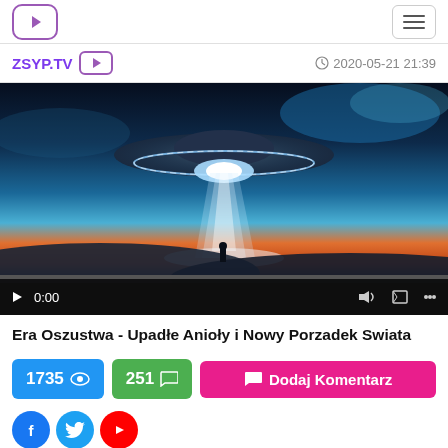ZSYP.TV header navigation
ZSYP.TV
2020-05-21 21:39
[Figure (screenshot): Video player showing a UFO / flying saucer with beam of light over a person standing on a dark landscape. Controls show 0:00 timestamp.]
Era Oszustwa - Upadłe Anioły i Nowy Porzadek Swiata
1735 views, 251 comments, Dodaj Komentarz button